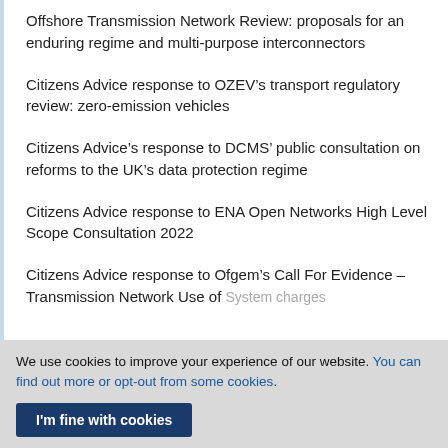Offshore Transmission Network Review: proposals for an enduring regime and multi-purpose interconnectors
Citizens Advice response to OZEV’s transport regulatory review: zero-emission vehicles
Citizens Advice’s response to DCMS’ public consultation on reforms to the UK’s data protection regime
Citizens Advice response to ENA Open Networks High Level Scope Consultation 2022
Citizens Advice response to Ofgem’s Call For Evidence – Transmission Network Use of System charges
We use cookies to improve your experience of our website. You can find out more or opt-out from some cookies.
I'm fine with cookies